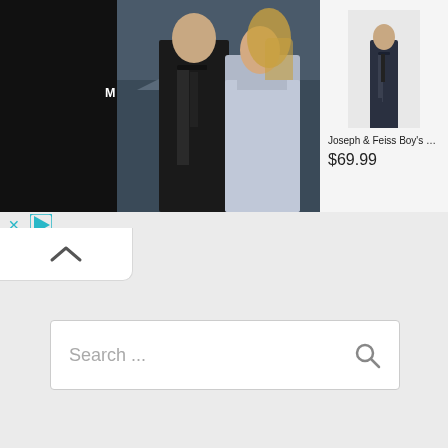[Figure (screenshot): Men's Wearhouse advertisement banner. Left section has black background with 'MEN'S WEARHOUSE' brand name and 'New Lower Prices' tagline. Center shows a couple in formal wear (man in dark suit, woman in formal dress). Right section shows a Joseph & Feiss Boy's suit product image with price $69.99.]
[Figure (screenshot): Ad controls bar with X close button and play/forward icon, in teal/cyan color]
[Figure (screenshot): White collapse/chevron-up button panel below ad banner]
[Figure (screenshot): Search input box with placeholder text 'Search ...' and magnifying glass icon on right]